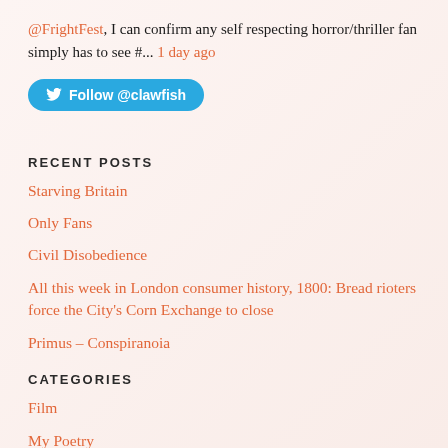@FrightFest, I can confirm any self respecting horror/thriller fan simply has to see #... 1 day ago
[Figure (other): Twitter Follow button for @clawfish]
RECENT POSTS
Starving Britain
Only Fans
Civil Disobedience
All this week in London consumer history, 1800: Bread rioters force the City's Corn Exchange to close
Primus – Conspiranoia
CATEGORIES
Film
My Poetry
Poetry